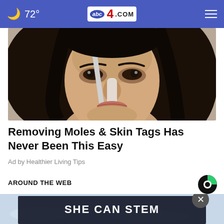🌙 72° | abc4.com
[Figure (photo): Close-up of a woman applying something to her nose with a white tool, dark hair, beauty/skincare context]
Removing Moles & Skin Tags Has Never Been This Easy
Ad by Healthier Living Tips
AROUND THE WEB
[Figure (logo): Taboola logo — black circle with green quarter]
[Figure (screenshot): Close button (X) dark circle overlay on bottom banner]
[Figure (photo): Bottom promotional banner with dark overlay text reading SHE CAN STEM on a light blue background]